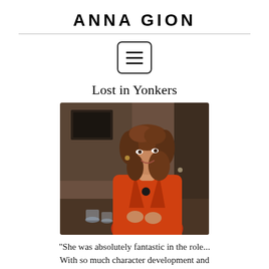ANNA GION
[Figure (screenshot): Menu/hamburger icon button with rounded rectangle border]
Lost in Yonkers
[Figure (photo): Woman with curly auburn hair wearing a red jacket, smiling and gesturing, standing in an indoor setting]
"She was absolutely fantastic in the role... With so much character development and raw emotion on display, it's tough for me